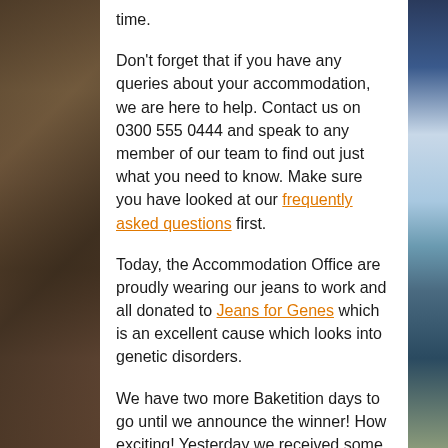time.
Don't forget that if you have any queries about your accommodation, we are here to help. Contact us on 0300 555 0444 and speak to any member of our team to find out just what you need to know. Make sure you have looked at our frequently asked questions first.
Today, the Accommodation Office are proudly wearing our jeans to work and all donated to Jeans for Genes which is an excellent cause which looks into genetic disorders.
We have two more Baketition days to go until we announce the winner! How exciting! Yesterday we received some delightful chocolate marble cakes from Grace. However, Sam did submit an entry but she should be disqualified for her 'exceedingly good' entry – see the pictures below:
Accommodation Catherine